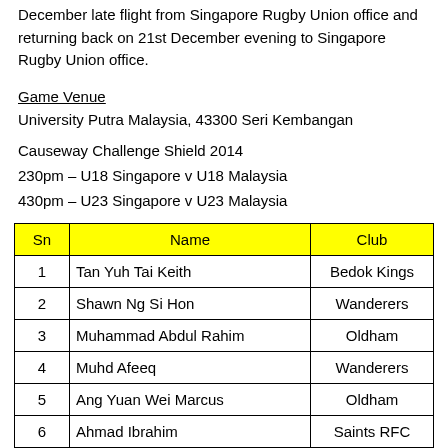December late flight from Singapore Rugby Union office and returning back on 21st December evening to Singapore Rugby Union office.
Game Venue
University Putra Malaysia, 43300 Seri Kembangan
Causeway Challenge Shield 2014
230pm – U18 Singapore v U18 Malaysia
430pm – U23 Singapore v U23 Malaysia
| Sn | Name | Club |
| --- | --- | --- |
| 1 | Tan Yuh Tai Keith | Bedok Kings |
| 2 | Shawn Ng Si Hon | Wanderers |
| 3 | Muhammad Abdul Rahim | Oldham |
| 4 | Muhd Afeeq | Wanderers |
| 5 | Ang Yuan Wei Marcus | Oldham |
| 6 | Ahmad Ibrahim | Saints RFC |
| 7 | Russell Wong Yung | Bedok Kings |